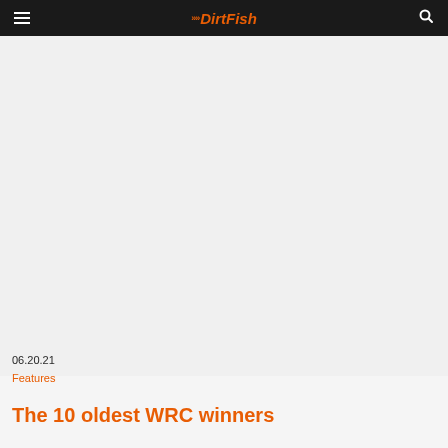DirtFish
06.20.21
Features
The 10 oldest WRC winners